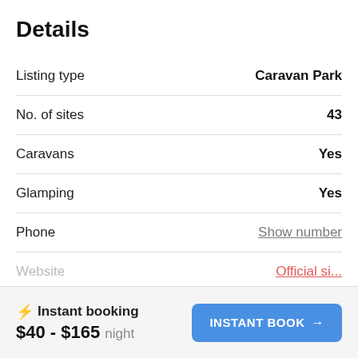Details
| Field | Value |
| --- | --- |
| Listing type | Caravan Park |
| No. of sites | 43 |
| Caravans | Yes |
| Glamping | Yes |
| Phone | Show number |
⚡ Instant booking  $40 - $165 night  INSTANT BOOK →